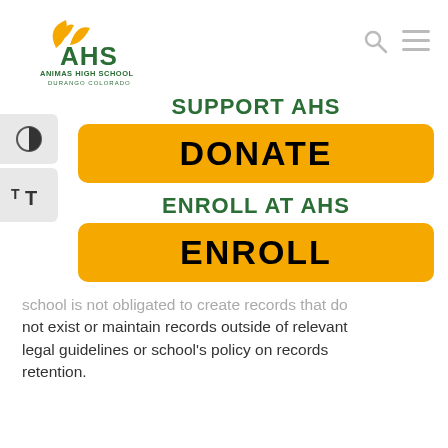[Figure (logo): Animas High School logo with yellow bird/leaf icon, green AHS text, and 'ANIMAS HIGH SCHOOL DURANGO COLORADO' text]
SUPPORT AHS
DONATE
ENROLL AT AHS
ENROLL
school is not obligated to create records that do not exist or maintain records outside of relevant legal guidelines or school's policy on records retention.